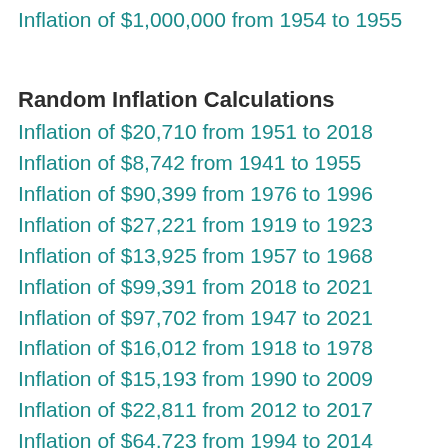Inflation of $1,000,000 from 1954 to 1955
Random Inflation Calculations
Inflation of $20,710 from 1951 to 2018
Inflation of $8,742 from 1941 to 1955
Inflation of $90,399 from 1976 to 1996
Inflation of $27,221 from 1919 to 1923
Inflation of $13,925 from 1957 to 1968
Inflation of $99,391 from 2018 to 2021
Inflation of $97,702 from 1947 to 2021
Inflation of $16,012 from 1918 to 1978
Inflation of $15,193 from 1990 to 2009
Inflation of $22,811 from 2012 to 2017
Inflation of $64,723 from 1994 to 2014
Inflation of $83,939 from 1998 to 2010
Inflation of $67,563 from 1935 to 1952
Inflation of $57,356 from 1939 to 2009